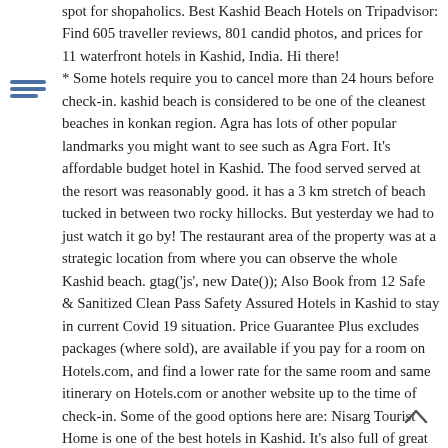spot for shopaholics. Best Kashid Beach Hotels on Tripadvisor: Find 605 traveller reviews, 801 candid photos, and prices for 11 waterfront hotels in Kashid, India. Hi there! * Some hotels require you to cancel more than 24 hours before check-in. kashid beach is considered to be one of the cleanest beaches in konkan region. Agra has lots of other popular landmarks you might want to see such as Agra Fort. It's affordable budget hotel in Kashid. The food served served at the resort was reasonably good. it has a 3 km stretch of beach tucked in between two rocky hillocks. But yesterday we had to just watch it go by! The restaurant area of the property was at a strategic location from where you can observe the whole Kashid beach. gtag('js', new Date()); Also Book from 12 Safe & Sanitized Clean Pass Safety Assured Hotels in Kashid to stay in current Covid 19 situation. Price Guarantee Plus excludes packages (where sold), are available if you pay for a room on Hotels.com, and find a lower rate for the same room and same itinerary on Hotels.com or another website up to the time of check-in. Some of the good options here are: Nisarg Tourist Home is one of the best hotels in Kashid. It's also full of great shops and restaurants, so you can spend the afternoon having a wander. Want to stretch your legs some more? A $6.00 redemption fee is charged for each reward night redeemed